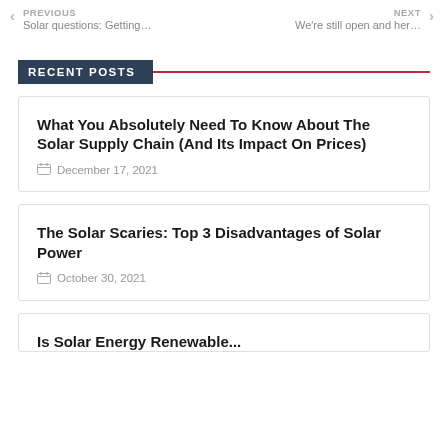PREVIOUS Solar questions: Getting... | NEXT We're still open and her...
RECENT POSTS
What You Absolutely Need To Know About The Solar Supply Chain (And Its Impact On Prices)
December 17, 2021
The Solar Scaries: Top 3 Disadvantages of Solar Power
October 30, 2021
Is Solar Energy Renewable...